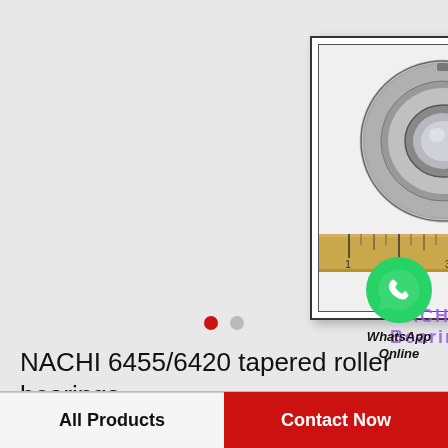[Figure (photo): NACHI bearing (tapered roller bearing 6455/6420) shown with a wooden ruler measuring approximately 2 inches in diameter, presented in a white photo frame with drop shadow]
[Figure (logo): WhatsApp green circle logo with phone handset icon, labeled 'WhatsApp Online' in bold italic text]
NACHI 6455/6420 tapered roller bearings
All Products
Contact Now